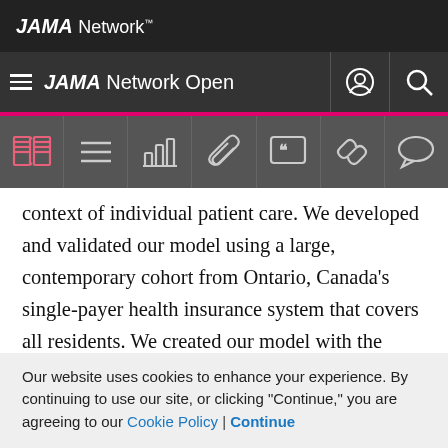JAMA Network
JAMA Network Open
context of individual patient care. We developed and validated our model using a large, contemporary cohort from Ontario, Canada’s single-payer health insurance system that covers all residents. We created our model with the intention that it could be used on data that are routinely collected by governments or health insurance systems, thereby offering efficient, population-level applicability while maintaining robust performance. Our
Our website uses cookies to enhance your experience. By continuing to use our site, or clicking “Continue,” you are agreeing to our Cookie Policy | Continue